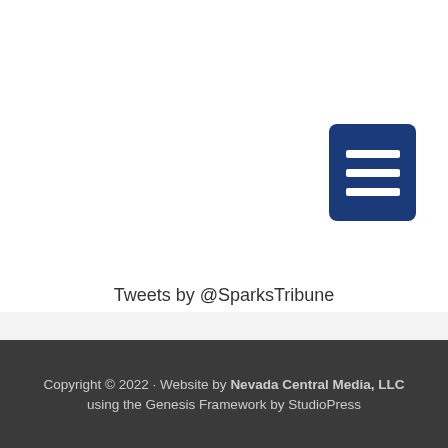[Figure (other): Dark blue rounded square button with three horizontal white lines (hamburger/menu icon)]
Tweets by @SparksTribune
Copyright © 2022 · Website by Nevada Central Media, LLC using the Genesis Framework by StudioPress